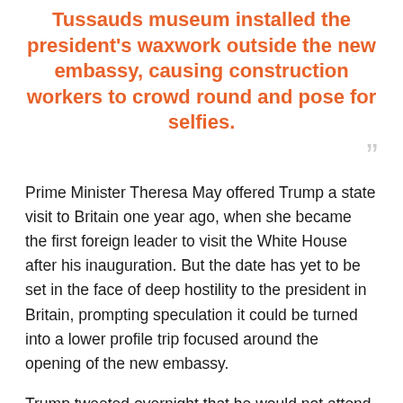Tussauds museum installed the president's waxwork outside the new embassy, causing construction workers to crowd round and pose for selfies.
Prime Minister Theresa May offered Trump a state visit to Britain one year ago, when she became the first foreign leader to visit the White House after his inauguration. But the date has yet to be set in the face of deep hostility to the president in Britain, prompting speculation it could be turned into a lower profile trip focused around the opening of the new embassy.
Trump tweeted overnight that he would not attend the ceremony, initially scheduled for next month. "I am not a big fan of the Obama administration having sold perhaps the best located and finest embassy in London for 'peanuts', only to build a new one in an off location for 1.2 billion dollars," he wrote.